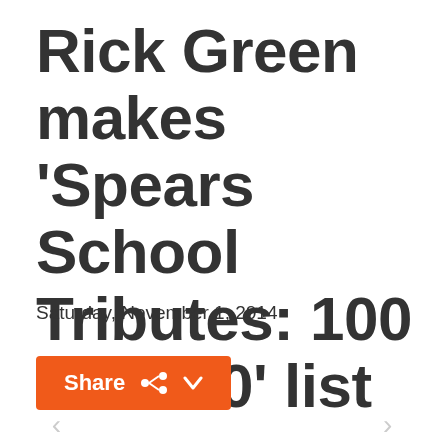Rick Green makes 'Spears School Tributes: 100 For 100' list
Saturday, November 1, 2014
[Figure (other): Orange 'Share' button with share icon and chevron dropdown arrow]